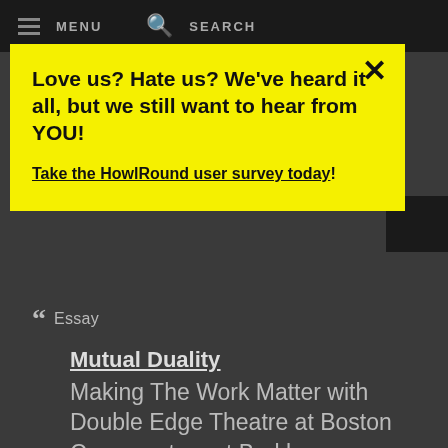MENU   SEARCH
Love us? Hate us? We've heard it all, but we still want to hear from YOU!
Take the HowlRound user survey today!
" Essay
Mutual Duality
Making The Work Matter with Double Edge Theatre at Boston Conservatory at Berklee
21 January 2017